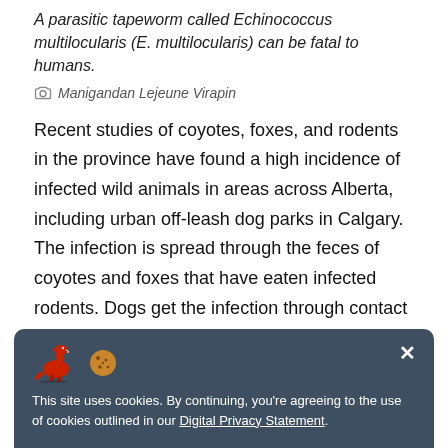A parasitic tapeworm called Echinococcus multilocularis (E. multilocularis) can be fatal to humans.
Manigandan Lejeune Virapin
Recent studies of coyotes, foxes, and rodents in the province have found a high incidence of infected wild animals in areas across Alberta, including urban off-leash dog parks in Calgary. The infection is spread through the feces of coyotes and foxes that have eaten infected rodents. Dogs get the infection through contact with feces or eating infected rodents, then developing adult worms and passing eggs in their feces.
This site uses cookies. By continuing, you're agreeing to the use of cookies outlined in our Digital Privacy Statement.